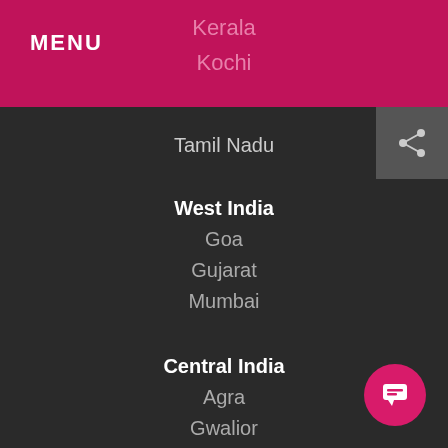MENU
Kerala
Kochi
Tamil Nadu
West India
Goa
Gujarat
Mumbai
Central India
Agra
Gwalior
Madhya Pradesh
Varanasi